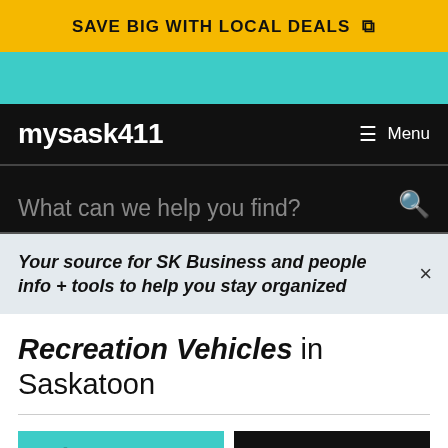SAVE BIG WITH LOCAL DEALS
[Figure (screenshot): Teal/cyan decorative strip]
mysask411  Menu
What can we help you find?
Your source for SK Business and people info + tools to help you stay organized
Recreation Vehicles in Saskatoon
LIST VIEW   MAP VIEW